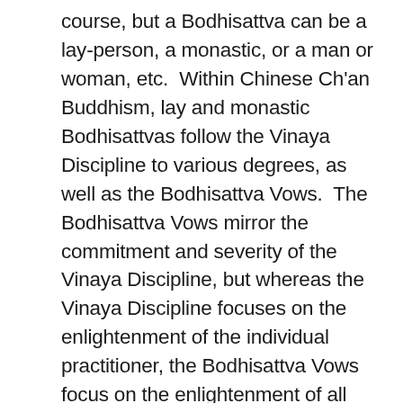course, but a Bodhisattva can be a lay-person, a monastic, or a man or woman, etc.  Within Chinese Ch'an Buddhism, lay and monastic Bodhisattvas follow the Vinaya Discipline to various degrees, as well as the Bodhisattva Vows.  The Bodhisattva Vows mirror the commitment and severity of the Vinaya Discipline, but whereas the Vinaya Discipline focuses on the enlightenment of the individual practitioner, the Bodhisattva Vows focus on the enlightenment of all other beings – together, both sets of rules form a perfect emphasis of all round self-cultivation, and this explains why Chinese Ch'an monks must take both the Vinaya Discipline and the Bodhisattva Vows during the ritual that governs the process of transition from the